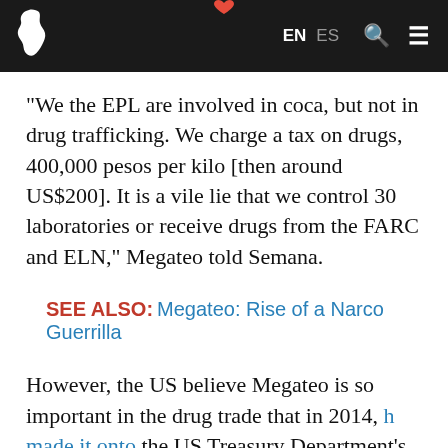EN  ES [navigation header with logo]
“We the EPL are involved in coca, but not in drug trafficking. We charge a tax on drugs, 400,000 pesos per kilo [then around US$200]. It is a vile lie that we control 30 laboratories or receive drugs from the FARC and ELN,” Megateo told Semana.
SEE ALSO: Megateo: Rise of a Narco Guerrilla
However, the US believe Megateo is so important in the drug trade that in 2014, he made it onto the US Treasury Department’s called Kingpin list. The US Narcotics Reward